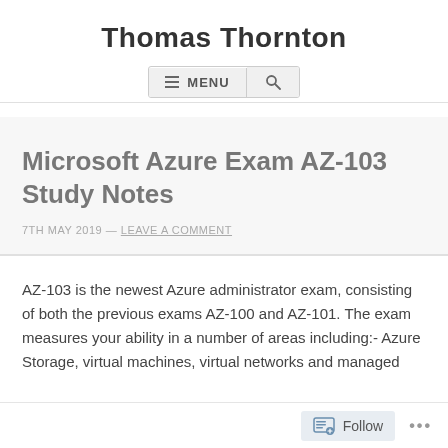Thomas Thornton
Microsoft Azure Exam AZ-103 Study Notes
7TH MAY 2019 — LEAVE A COMMENT
AZ-103 is the newest Azure administrator exam, consisting of both the previous exams AZ-100 and AZ-101. The exam measures your ability in a number of areas including:- Azure Storage, virtual machines, virtual networks and managed
Follow ...